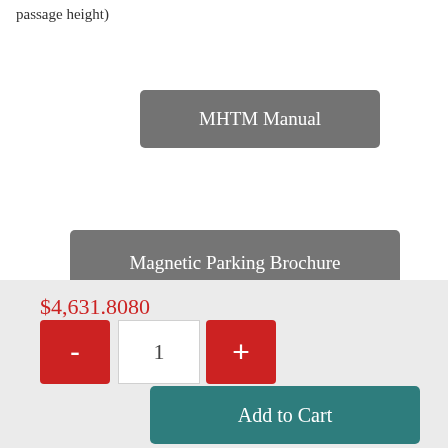passage height)
[Figure (other): Button with gray background labeled MHTM Manual]
[Figure (other): Button with gray background labeled Magnetic Parking Brochure]
[Figure (photo): Product image thumbnail with gray background]
$4,631.8080
[Figure (other): Quantity selector with minus button, quantity field showing 1, and plus button]
[Figure (other): Add to Cart button in teal color]